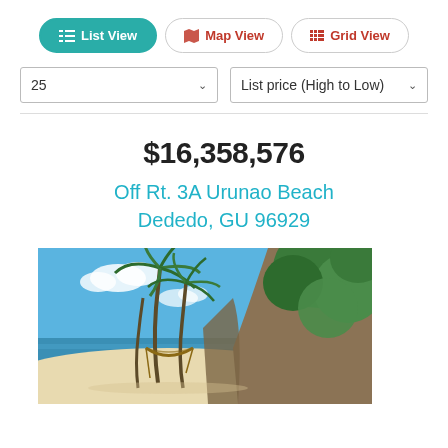[Figure (screenshot): Navigation buttons: List View (active/teal), Map View, Grid View]
25 (dropdown)
List price (High to Low) (dropdown)
$16,358,576
Off Rt. 3A Urunao Beach Dededo, GU 96929
[Figure (photo): Beach scene with palm trees, white sand beach, hammock strung between palms, ocean in background, large rocky cliff face with tropical vegetation on the right]